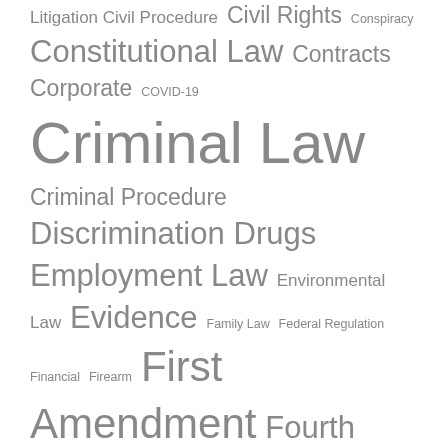[Figure (infographic): Tag cloud of legal topics with varying font sizes indicating frequency/importance. Topics include: Litigation Civil Procedure, Civil Rights, Conspiracy, Constitutional Law, Contracts, Corporate, COVID-19, Criminal Law, Criminal Procedure, Discrimination, Drugs, Employment Law, Environmental Law, Evidence, Family Law, Federal Regulation, Financial, Firearm, First Amendment, Fourth Amendment, Fourth Circuit, Free Speech, habeas corpus, Health Care, Health Law, Immigration, International Law, Liability, Negligence, North Carolina, Plea agreement, Privacy, Restatement (Third) of Torts, Sentencing, Sentencing Guidelines, Subject Matter Jurisdiction, Summary Judgment, Supreme Court, Symposium, Title VII, Tort]